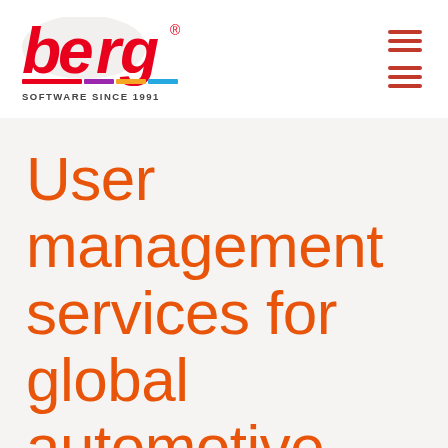[Figure (logo): Berg Software Since 1991 logo — 'berg' in red with colorful underline decoration, tagline 'SOFTWARE SINCE 1991' in dark gray bold uppercase]
User management services for global automotive supplier